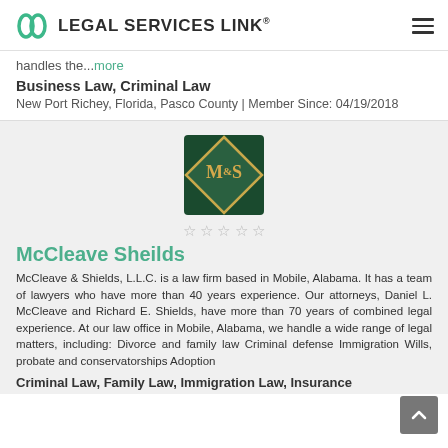LEGAL SERVICES LINK®
handles the...more
Business Law, Criminal Law
New Port Richey, Florida, Pasco County | Member Since: 04/19/2018
[Figure (logo): McCleave & Shields M&S diamond logo]
★ ★ ★ ★ ★
McCleave Sheilds
McCleave & Shields, L.L.C. is a law firm based in Mobile, Alabama. It has a team of lawyers who have more than 40 years experience. Our attorneys, Daniel L. McCleave and Richard E. Shields, have more than 70 years of combined legal experience. At our law office in Mobile, Alabama, we handle a wide range of legal matters, including: Divorce and family law Criminal defense Immigration Wills, probate and conservatorships Adoption
Criminal Law, Family Law, Immigration Law, Insurance